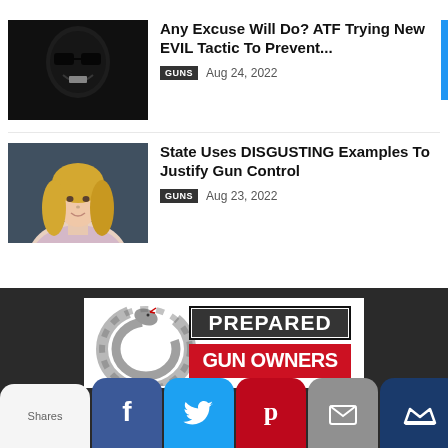[Figure (photo): Dark moody black and white photo of a person with sunglasses smiling sinisterly]
Any Excuse Will Do? ATF Trying New EVIL Tactic To Prevent...
GUNS  Aug 24, 2022
[Figure (photo): Portrait of a blonde woman against a dark background]
State Uses DISGUSTING Examples To Justify Gun Control
GUNS  Aug 23, 2022
[Figure (logo): Prepared Gun Owners logo with Gadsden snake and bold text]
Shares
[Figure (infographic): Social sharing buttons: Facebook, Twitter, Pinterest, Email, and another service]